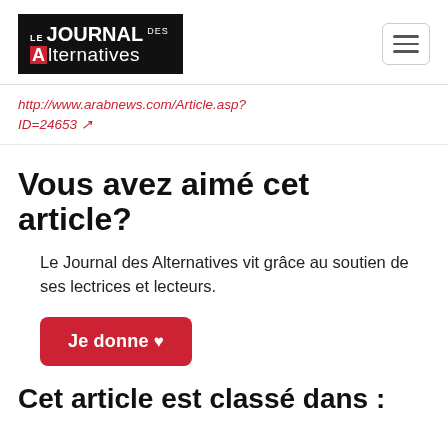Le Journal des Alternatives
http://www.arabnews.com/Article.asp?ID=24653 ↗
Vous avez aimé cet article?
Le Journal des Alternatives vit grâce au soutien de ses lectrices et lecteurs.
Je donne ♥
Cet article est classé dans :